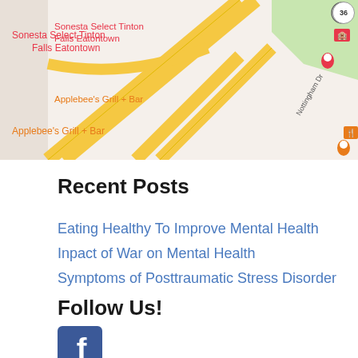[Figure (map): Google Maps screenshot showing roads near Sonesta Select Tinton Falls Eatontown, Applebee's Grill + Bar, Players Billiards, and Capilup area with highway interchange]
Recent Posts
Eating Healthy To Improve Mental Health
Inpact of War on Mental Health
Symptoms of Posttraumatic Stress Disorder
Follow Us!
[Figure (logo): Facebook logo icon - white 'f' on blue square background]